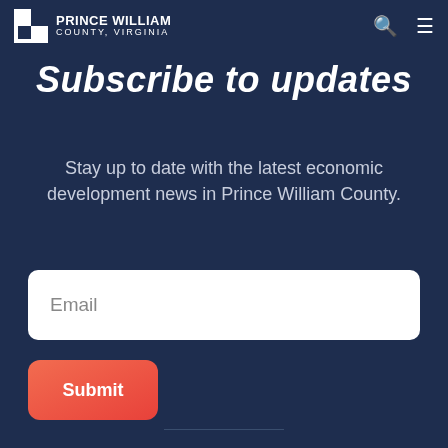Prince William County, Virginia
Subscribe to updates
Stay up to date with the latest economic development news in Prince William County.
Email
Submit